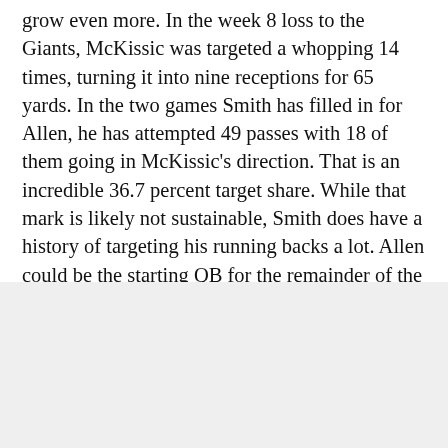grow even more. In the week 8 loss to the Giants, McKissic was targeted a whopping 14 times, turning it into nine receptions for 65 yards. In the two games Smith has filled in for Allen, he has attempted 49 passes with 18 of them going in McKissic's direction. That is an incredible 36.7 percent target share. While that mark is likely not sustainable, Smith does have a history of targeting his running backs a lot. Allen could be the starting QB for the remainder of the season, which should bode well for McKissic's fantasy value moving forward. If he's still available on the wire, grab McKissic and don't think twice about it.